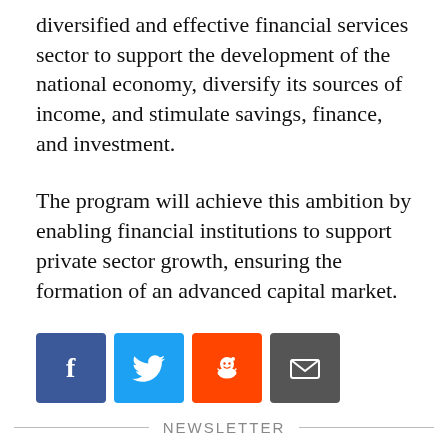diversified and effective financial services sector to support the development of the national economy, diversify its sources of income, and stimulate savings, finance, and investment.
The program will achieve this ambition by enabling financial institutions to support private sector growth, ensuring the formation of an advanced capital market.
[Figure (infographic): Four social share buttons: Facebook (blue), Twitter (light blue), Reddit (orange), Email (dark gray)]
NEWSLETTER